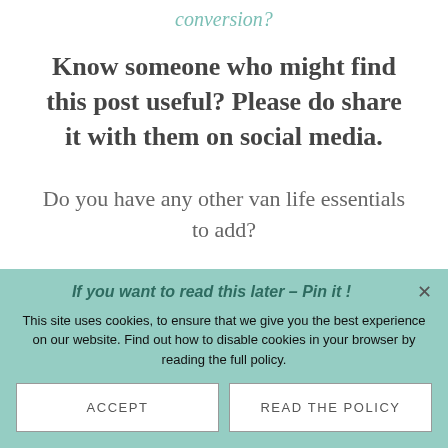conversion?
Know someone who might find this post useful? Please do share it with them on social media.
Do you have any other van life essentials to add?
If you want to read this later – Pin it !
This site uses cookies, to ensure that we give you the best experience on our website. Find out how to disable cookies in your browser by reading the full policy.
ACCEPT
READ THE POLICY